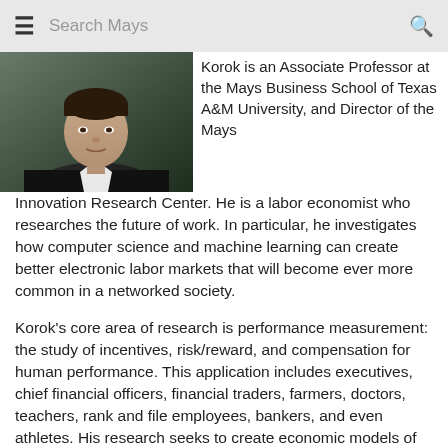≡  Search Mays  🔍
[Figure (photo): Headshot photo of a man in a dark suit jacket with a white shirt, dark background]
Korok is an Associate Professor at the Mays Business School of Texas A&M University, and Director of the Mays Innovation Research Center. He is a labor economist who researches the future of work. In particular, he investigates how computer science and machine learning can create better electronic labor markets that will become ever more common in a networked society.
Korok's core area of research is performance measurement: the study of incentives, risk/reward, and compensation for human performance. This application includes executives, chief financial officers, financial traders, farmers, doctors, teachers, rank and file employees, bankers, and even athletes. His research seeks to create economic models of human behavior and to design incentive systems to achieve better outcomes for all. His tools are economic theory, data science, and